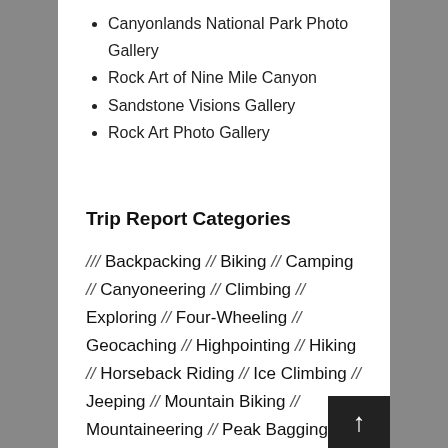Canyonlands National Park Photo Gallery
Rock Art of Nine Mile Canyon
Sandstone Visions Gallery
Rock Art Photo Gallery
Trip Report Categories
/// Backpacking // Biking // Camping // Canyoneering // Climbing // Exploring // Four-Wheeling // Geocaching // Highpointing // Hiking // Horseback Riding // Ice Climbing // Jeeping // Mountain Biking // Mountaineering // Peak Bagging // Photographing // Rafting // Snowshoeing // Touring ///